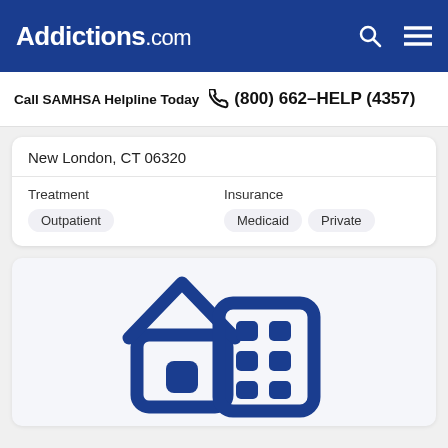Addictions.com
Call SAMHSA Helpline Today  (800) 662-HELP (4357)
New London, CT 06320
| Treatment | Insurance |
| --- | --- |
| Outpatient | Medicaid  Private |
[Figure (illustration): Blue icon of a house and an office building, representing treatment facility locations]